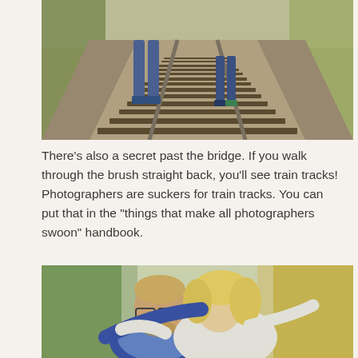[Figure (photo): Two children standing on train tracks, viewed from below waist level. The tracks extend into the distance with gravel on the sides and trees in the background.]
There's also a secret past the bridge. If you walk through the brush straight back, you'll see train tracks! Photographers are suckers for train tracks. You can put that in the "things that make all photographers swoon" handbook.
[Figure (photo): A couple embracing on train tracks with bokeh trees in the background. A man with glasses and a woman with blonde hair lean toward each other in an intimate pose.]